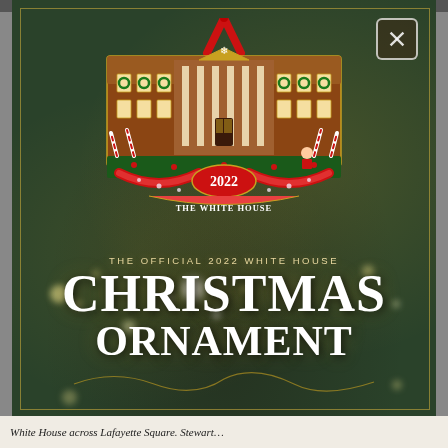[Figure (photo): The Official 2022 White House Christmas Ornament displayed against a bokeh green Christmas tree background. The ornament depicts the White House as a gingerbread house with candy canes, wreaths, and a '2022 The White House' banner. A red ribbon hangs at the top. The lower half has dark green background with gold text reading 'THE OFFICIAL 2022 WHITE HOUSE CHRISTMAS ORNAMENT' in large serif font. A close button (×) appears in the top-right corner.]
White House across Lafayette Square. Stewart…